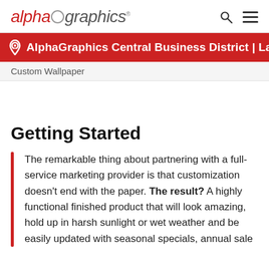alphagraphics
AlphaGraphics Central Business District | Las Vegas
Custom Wallpaper
Getting Started
The remarkable thing about partnering with a full-service marketing provider is that customization doesn't end with the paper. The result? A highly functional finished product that will look amazing, hold up in harsh sunlight or wet weather and be easily updated with seasonal specials, annual sale